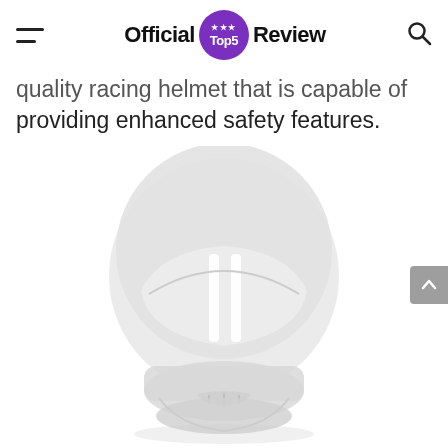Official Top5 Review
quality racing helmet that is capable of providing enhanced safety features.
[Figure (photo): A white/light gray full-face motorcycle racing helmet shown from the front, with a clear visor and ventilation details, displayed against a white background.]